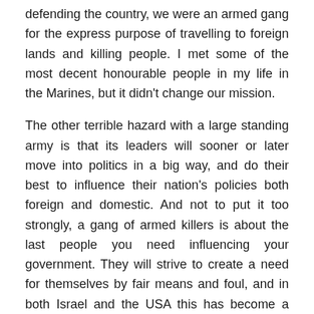defending the country, we were an armed gang for the express purpose of travelling to foreign lands and killing people. I met some of the most decent honourable people in my life in the Marines, but it didn't change our mission.
The other terrible hazard with a large standing army is that its leaders will sooner or later move into politics in a big way, and do their best to influence their nation's policies both foreign and domestic. And not to put it too strongly, a gang of armed killers is about the last people you need influencing your government. They will strive to create a need for themselves by fair means and foul, and in both Israel and the USA this has become a terrible problem. I mean, we have two of the most powerful military machines in the world … and the threats they face are some of the most trivial in their nation's history.